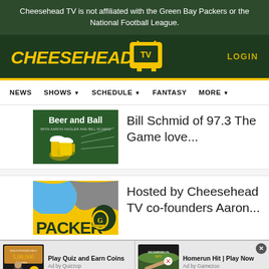Cheesehead TV is not affiliated with the Green Bay Packers or the National Football League.
[Figure (logo): Cheesehead TV logo with yellow italic text and TV icon]
LOGIN
NEWS  SHOWS  SCHEDULE  FANTASY  MORE
[Figure (photo): Beer and Ball podcast artwork with beer mugs and football play diagrams]
Bill Schmid of 97.3 The Game love...
[Figure (photo): Packer podcast artwork with yellow background and Packer helmet logo]
Hosted by Cheesehead TV co-founders Aaron...
[Figure (infographic): Two advertisement units: Play Quiz and Earn Coins (Quizzop) and Homerun Hit Play Now (Gamezoo)]